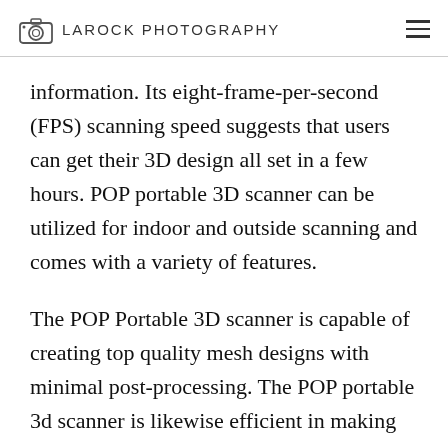LAROCK PHOTOGRAPHY
information. Its eight-frame-per-second (FPS) scanning speed suggests that users can get their 3D design all set in a few hours. POP portable 3D scanner can be utilized for indoor and outside scanning and comes with a variety of features.
The POP Portable 3D scanner is capable of creating top quality mesh designs with minimal post-processing. The POP portable 3d scanner is likewise efficient in making reverse-engineered designs. Nevertheless,